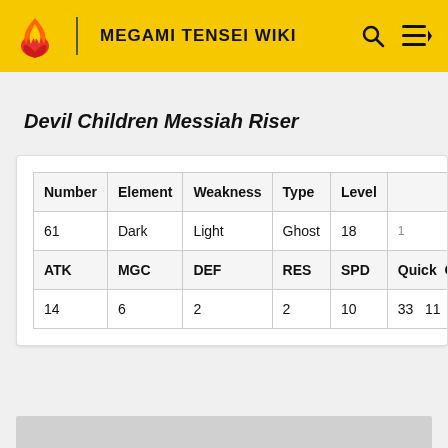Megami Tensei Wiki
Devil Children Messiah Riser
| Number | Element | Weakness | Type | Level |
| --- | --- | --- | --- | --- |
| 61 | Dark | Light | Ghost | 18 |
| ATK | MGC | DEF | RES | SPD | Quick | Call |
| 14 | 6 | 2 | 2 | 10 | 33 | 11 |